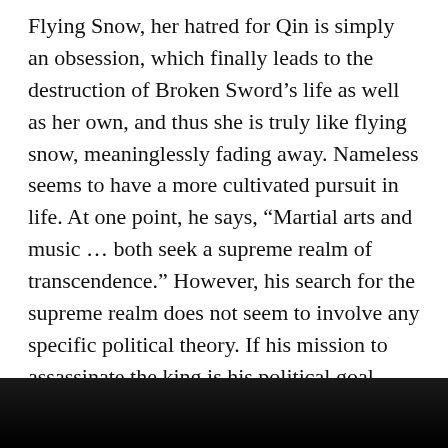Flying Snow, her hatred for Qin is simply an obsession, which finally leads to the destruction of Broken Sword's life as well as her own, and thus she is truly like flying snow, meaninglessly fading away. Nameless seems to have a more cultivated pursuit in life. At one point, he says, “Martial arts and music … both seek a supreme realm of transcendence.” However, his search for the supreme realm does not seem to involve any specific political theory. If his mission to assassinate the king is his political goal, then such a goal without a political theory is doomed to failure, just as his mission results in his death. Nameless, therefore, does not seem to need a name, as his ambition has been reduced to naught.
[Figure (photo): Dark photographic image at the bottom of the page, mostly black with slight gray tones suggesting a dimly lit scene.]